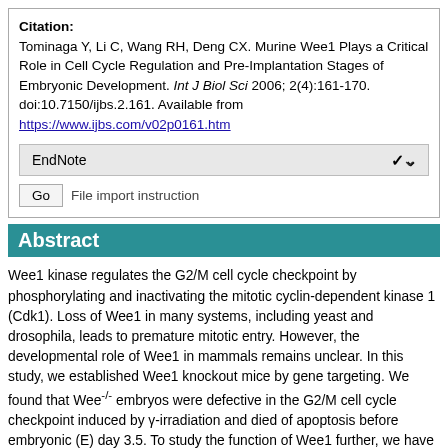Citation: Tominaga Y, Li C, Wang RH, Deng CX. Murine Wee1 Plays a Critical Role in Cell Cycle Regulation and Pre-Implantation Stages of Embryonic Development. Int J Biol Sci 2006; 2(4):161-170. doi:10.7150/ijbs.2.161. Available from https://www.ijbs.com/v02p0161.htm
EndNote
Go  File import instruction
Abstract
Wee1 kinase regulates the G2/M cell cycle checkpoint by phosphorylating and inactivating the mitotic cyclin-dependent kinase 1 (Cdk1). Loss of Wee1 in many systems, including yeast and drosophila, leads to premature mitotic entry. However, the developmental role of Wee1 in mammals remains unclear. In this study, we established Wee1 knockout mice by gene targeting. We found that Wee-/- embryos were defective in the G2/M cell cycle checkpoint induced by γ-irradiation and died of apoptosis before embryonic (E) day 3.5. To study the function of Wee1 further, we have developed MEF cells in which Wee1 is disrupted by a tamoxifen inducible Cre-LoxP approach. We found that acute deletion of Wee1 resulted in profound growth defects and cell death. Wee1 deficient cells displayed chromosome aneuploidy and DNA damage as revealed by γ-H2AX foci formation and Chk2 activation. Further studies revealed a conserved mechanism of Wee1 in regulating mitotic entry and the G2/M checkpoint compared with other lower organisms. These data provide in vivo evidence that mammalian Wee1 plays a critical role in maintaining